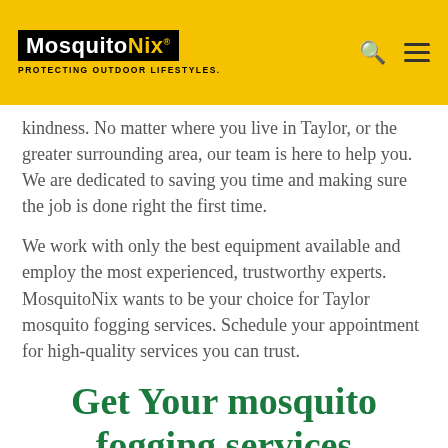MosquitoNix PROTECTING OUTDOOR LIFESTYLES.
kindness. No matter where you live in Taylor, or the greater surrounding area, our team is here to help you. We are dedicated to saving you time and making sure the job is done right the first time.
We work with only the best equipment available and employ the most experienced, trustworthy experts. MosquitoNix wants to be your choice for Taylor mosquito fogging services. Schedule your appointment for high-quality services you can trust.
Get Your mosquito fogging services